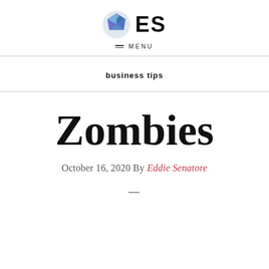[Figure (logo): ES logo with blue geometric polygon icon and bold ES text]
MENU
business tips
Zombies
October 16, 2020 By Eddie Senatore
—